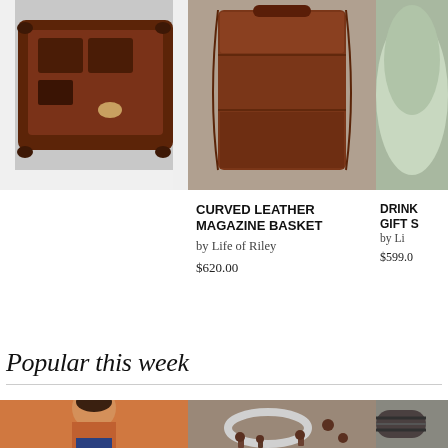[Figure (photo): Valet desk set — dark brown wooden tray with small items, shot from above on white background]
VALET DESK SET
by Life of Riley
$239.00
[Figure (photo): Curved leather magazine basket — dark brown leather container]
CURVED LEATHER MAGAZINE BASKET
by Life of Riley
$620.00
[Figure (photo): Drinks gift set — partially visible, light green or mint colored item]
DRINK
GIFT S
by Li
$599.0
Popular this week
[Figure (photo): Tattooed man wearing blue floral print boxer shorts, standing against orange background]
[Figure (photo): Silver cuff bracelet next to rusty screws and bolts on brown surface]
[Figure (photo): Braided leather bracelet — partially visible on right edge]